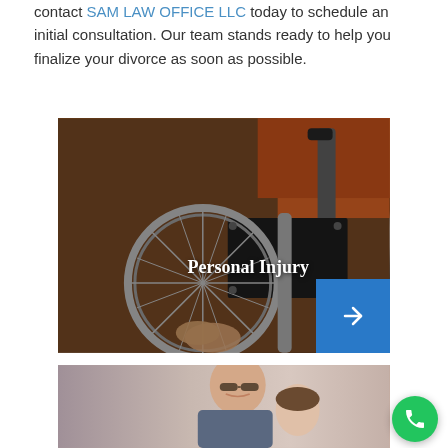contact SAM LAW OFFICE LLC today to schedule an initial consultation. Our team stands ready to help you finalize your divorce as soon as possible.
[Figure (photo): Close-up photo of a hand gripping a wheelchair wheel, with orange wheelchair frame visible. Text overlay reads 'Personal Injury' with a blue arrow button in the bottom right corner.]
[Figure (photo): Photo of a smiling man with sunglasses and a child leaning against him, blurred background.]